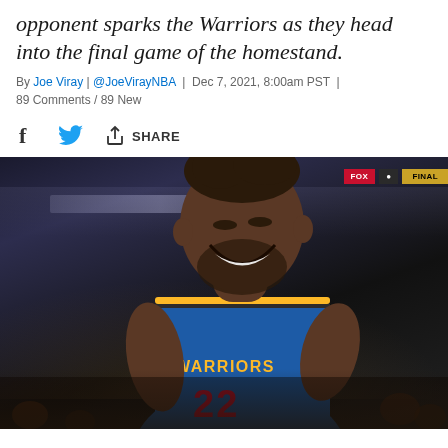opponent sparks the Warriors as they head into the final game of the homestand.
By Joe Viray | @JoeVirayNBA | Dec 7, 2021, 8:00am PST | 89 Comments / 89 New
[Figure (photo): A Golden State Warriors player wearing jersey number 22 (Andrew Wiggins) smiling broadly in a blue Warriors uniform during a game, with crowd and arena scoreboard visible in the background.]